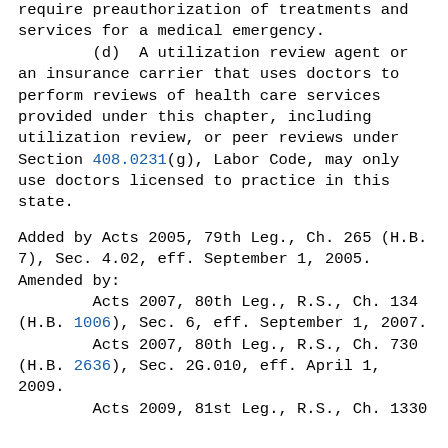require preauthorization of treatments and services for a medical emergency.
    (d)  A utilization review agent or an insurance carrier that uses doctors to perform reviews of health care services provided under this chapter, including utilization review, or peer reviews under Section 408.0231(g), Labor Code, may only use doctors licensed to practice in this state.
Added by Acts 2005, 79th Leg., Ch. 265 (H.B. 7), Sec. 4.02, eff. September 1, 2005. Amended by:
    Acts 2007, 80th Leg., R.S., Ch. 134 (H.B. 1006), Sec. 6, eff. September 1, 2007.
    Acts 2007, 80th Leg., R.S., Ch. 730 (H.B. 2636), Sec. 2G.010, eff. April 1, 2009.
    Acts 2009, 81st Leg., R.S., Ch. 1330